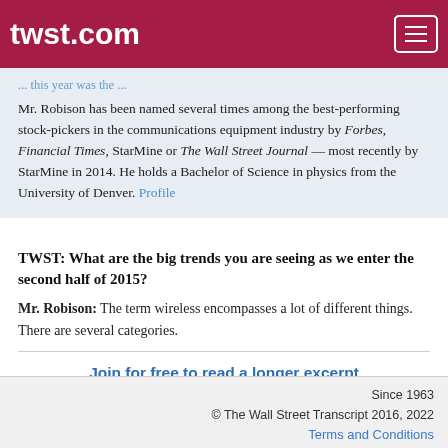twst.com
Mr. Robison has been named several times among the best-performing stock-pickers in the communications equipment industry by Forbes, Financial Times, StarMine or The Wall Street Journal — most recently by StarMine in 2014. He holds a Bachelor of Science in physics from the University of Denver. Profile
TWST: What are the big trends you are seeing as we enter the second half of 2015?
Mr. Robison: The term wireless encompasses a lot of different things. There are several categories.
Join for free to read a longer excerpt
or
purchase this article
Already a member? Login here
Since 1963
© The Wall Street Transcript 2016, 2022
Terms and Conditions
Privacy Policy